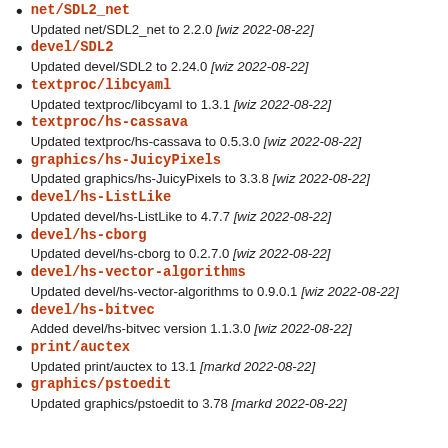net/SDL2_net
Updated net/SDL2_net to 2.2.0 [wiz 2022-08-22]
devel/SDL2
Updated devel/SDL2 to 2.24.0 [wiz 2022-08-22]
textproc/libcyaml
Updated textproc/libcyaml to 1.3.1 [wiz 2022-08-22]
textproc/hs-cassava
Updated textproc/hs-cassava to 0.5.3.0 [wiz 2022-08-22]
graphics/hs-JuicyPixels
Updated graphics/hs-JuicyPixels to 3.3.8 [wiz 2022-08-22]
devel/hs-ListLike
Updated devel/hs-ListLike to 4.7.7 [wiz 2022-08-22]
devel/hs-cborg
Updated devel/hs-cborg to 0.2.7.0 [wiz 2022-08-22]
devel/hs-vector-algorithms
Updated devel/hs-vector-algorithms to 0.9.0.1 [wiz 2022-08-22]
devel/hs-bitvec
Added devel/hs-bitvec version 1.1.3.0 [wiz 2022-08-22]
print/auctex
Updated print/auctex to 13.1 [markd 2022-08-22]
graphics/pstoedit
Updated graphics/pstoedit to 3.78 [markd 2022-08-22]